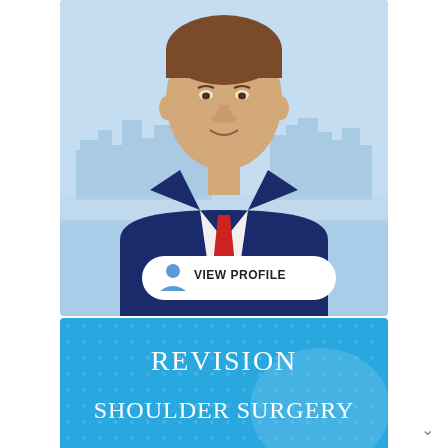[Figure (photo): Professional headshot of a male doctor in a navy blue suit and red tie, with a city skyline background. A 'VIEW PROFILE' button overlay appears at the bottom of the photo.]
[Figure (photo): Blue book cover with dotted background pattern showing the text 'REVISION SHOULDER SURGERY' in white serif font, partially visible at the bottom of the page.]